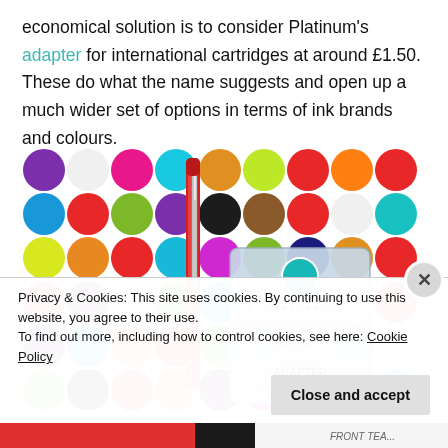economical solution is to consider Platinum's adapter for international cartridges at around £1.50. These do what the name suggests and open up a much wider set of options in terms of ink brands and colours.
[Figure (photo): A Platinum fountain pen and a Platinum adapter for European size ink cartridges, displayed against a colorful background of felt balls in many colors including purple, white, pink, teal, orange, green, red, yellow, and blue.]
Privacy & Cookies: This site uses cookies. By continuing to use this website, you agree to their use.
To find out more, including how to control cookies, see here: Cookie Policy
Close and accept